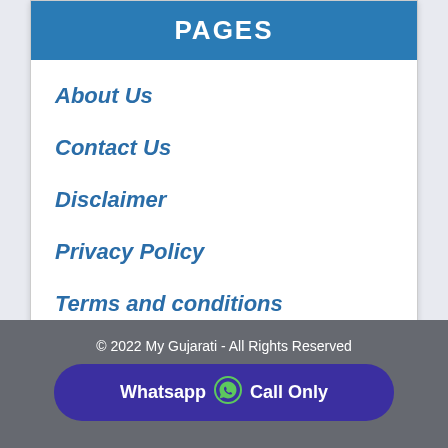PAGES
About Us
Contact Us
Disclaimer
Privacy Policy
Terms and conditions
Web Stories
© 2022 My Gujarati - All Rights Reserved
Whatsapp Call Only